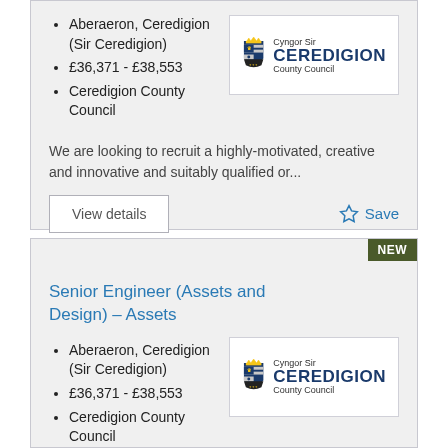Aberaeron, Ceredigion (Sir Ceredigion)
£36,371 - £38,553
Ceredigion County Council
[Figure (logo): Ceredigion County Council logo with coat of arms shield and text 'Cyngor Sir CEREDIGION County Council']
We are looking to recruit a highly-motivated, creative and innovative and suitably qualified or...
View details
Save
Senior Engineer (Assets and Design) – Assets
Aberaeron, Ceredigion (Sir Ceredigion)
£36,371 - £38,553
Ceredigion County Council
[Figure (logo): Ceredigion County Council logo with coat of arms shield and text 'Cyngor Sir CEREDIGION County Council']